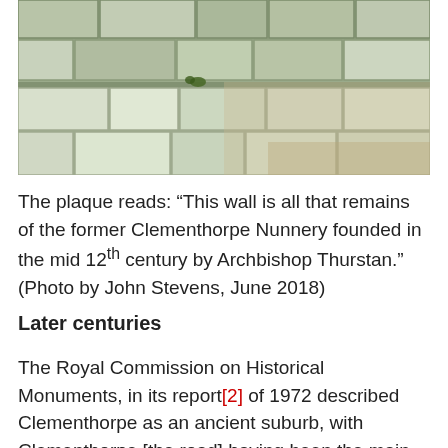[Figure (photo): Photograph of an ancient stone wall showing large irregular limestone or sandstone blocks, remnants of Clementhorpe Nunnery. The wall texture shows weathered, light-grey stones with some vegetation growing in cracks.]
The plaque reads: “This wall is all that remains of the former Clementhorpe Nunnery founded in the mid 12th century by Archbishop Thurstan.” (Photo by John Stevens, June 2018)
Later centuries
The Royal Commission on Historical Monuments, in its report[2] of 1972 described Clementhorpe as an ancient suburb, with Clementhorpe [the road] having been the main street of a small